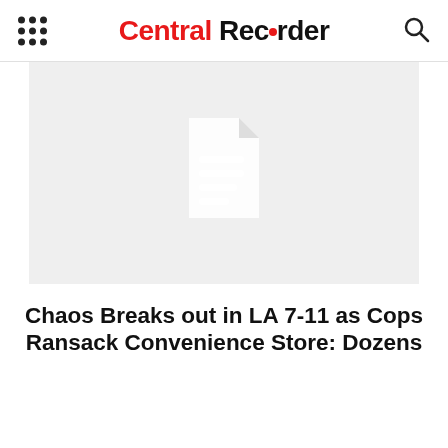Central Recorder
[Figure (other): Gray placeholder image with a document icon in the center, indicating a missing or unavailable article image]
Chaos Breaks out in LA 7-11 as Cops Ransack Convenience Store: Dozens